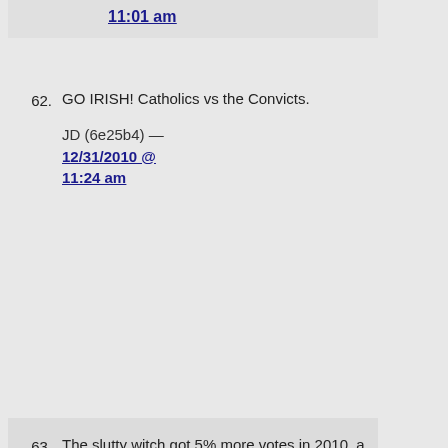11:01 am (link)
GO IRISH! Catholics vs the Convicts.

JD (6e25b4) — 12/31/2010 @ 11:24 am
The slutty witch got 5% more votes in 2010, a massive Republican year when she raised a huge amount of funds, than she did in 2008. Absent an indictment or